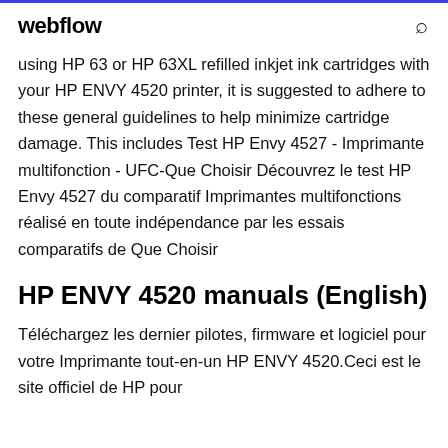webflow
using HP 63 or HP 63XL refilled inkjet ink cartridges with your HP ENVY 4520 printer, it is suggested to adhere to these general guidelines to help minimize cartridge damage. This includes Test HP Envy 4527 - Imprimante multifonction - UFC-Que Choisir Découvrez le test HP Envy 4527 du comparatif Imprimantes multifonctions réalisé en toute indépendance par les essais comparatifs de Que Choisir
HP ENVY 4520 manuals (English)
Téléchargez les dernier pilotes, firmware et logiciel pour votre Imprimante tout-en-un HP ENVY 4520.Ceci est le site officiel de HP pour